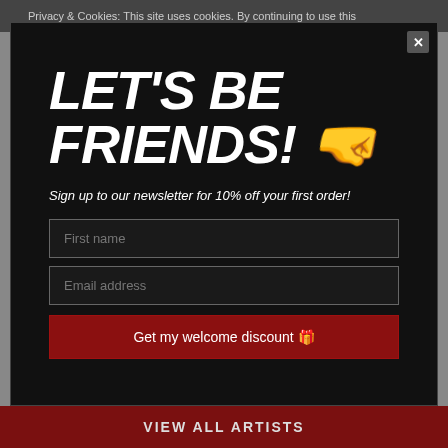Privacy & Cookies: This site uses cookies. By continuing to use this
LET'S BE FRIENDS! 🤝
Sign up to our newsletter for 10% off your first order!
[Figure (screenshot): Newsletter signup form with First name input, Email address input, and a dark red 'Get my welcome discount 🎁' button on a black background modal overlay]
VIEW ALL ARTISTS